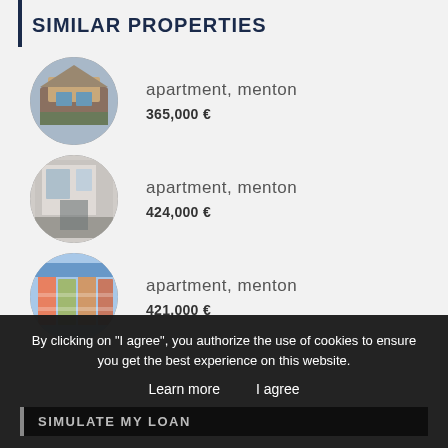SIMILAR PROPERTIES
apartment, menton — 365,000€
apartment, menton — 424,000€
apartment, menton — 421,000€
By clicking on "I agree", you authorize the use of cookies to ensure you get the best experience on this website.
Learn more   I agree
SIMULATE MY LOAN